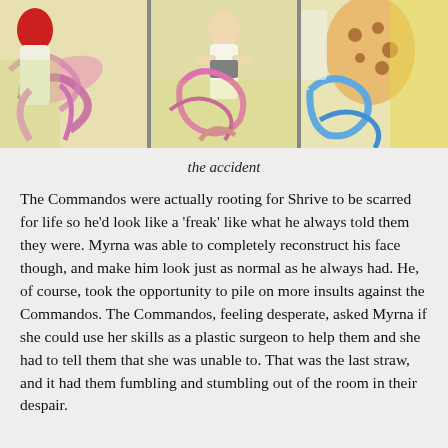[Figure (illustration): Comic book panel strip showing three panels: left panel with a figure amid swirling pink/purple tentacle-like energy, center panel with a figure playing or holding something with swirling lines, right panel with a spotted/leopard-print creature and blue swirling energy, all in colorful comic book art style.]
the accident
The Commandos were actually rooting for Shrive to be scarred for life so he'd look like a 'freak' like what he always told them they were. Myrna was able to completely reconstruct his face though, and make him look just as normal as he always had. He, of course, took the opportunity to pile on more insults against the Commandos. The Commandos, feeling desperate, asked Myrna if she could use her skills as a plastic surgeon to help them and she had to tell them that she was unable to. That was the last straw, and it had them fumbling and stumbling out of the room in their despair.